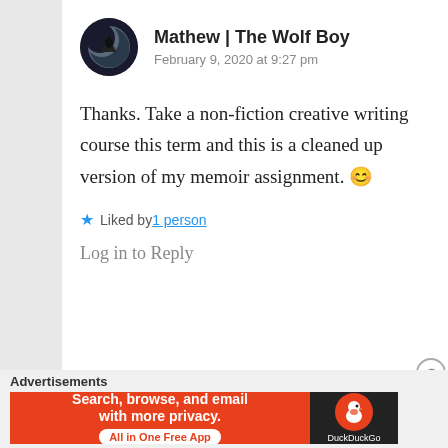Mathew | The Wolf Boy
February 9, 2020 at 9:27 pm
Thanks. Take a non-fiction creative writing course this term and this is a cleaned up version of my memoir assignment. 😊
★ Liked by 1 person
Log in to Reply
Advertisements
[Figure (screenshot): DuckDuckGo advertisement banner: orange background with text 'Search, browse, and email with more privacy. All in One Free App' and DuckDuckGo duck logo on dark background]